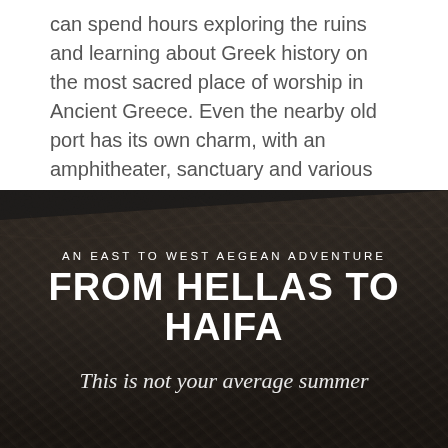can spend hours exploring the ruins and learning about Greek history on the most sacred place of worship in Ancient Greece. Even the nearby old port has its own charm, with an amphitheater, sanctuary and various dwellings waiting to be explored.
[Figure (photo): Dark rock/stone texture background with diagonal cut at top, overlaid with white text for a travel editorial section header]
AN EAST TO WEST AEGEAN ADVENTURE
FROM HELLAS TO HAIFA
This is not your average summer